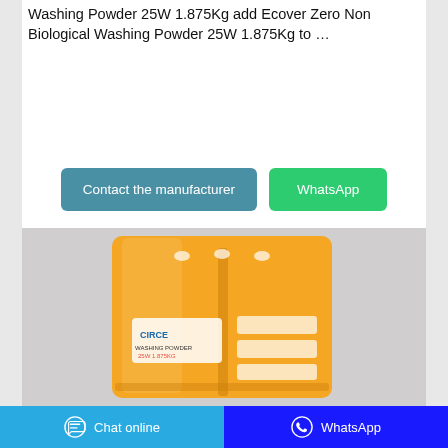Washing Powder 25W 1.875Kg add Ecover Zero Non Biological Washing Powder 25W 1.875Kg to …
[Figure (other): Buttons: 'Contact the manufacturer' (teal) and 'WhatsApp' (green)]
[Figure (photo): Orange plastic bag of washing powder product with brand label]
Chat online   WhatsApp